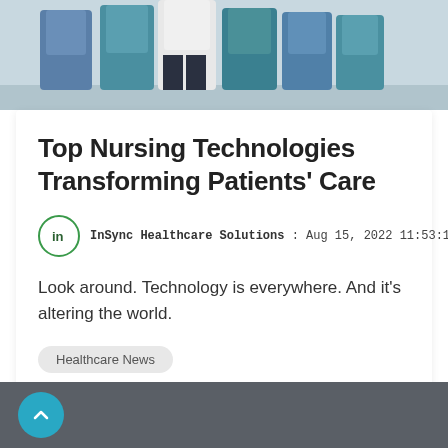[Figure (photo): Group of healthcare workers in blue and teal scrubs with one in white coat, lower bodies visible, standing together]
Top Nursing Technologies Transforming Patients' Care
InSync Healthcare Solutions : Aug 15, 2022 11:53:10 AM
Look around. Technology is everywhere. And it's altering the world.
Healthcare News
Read More